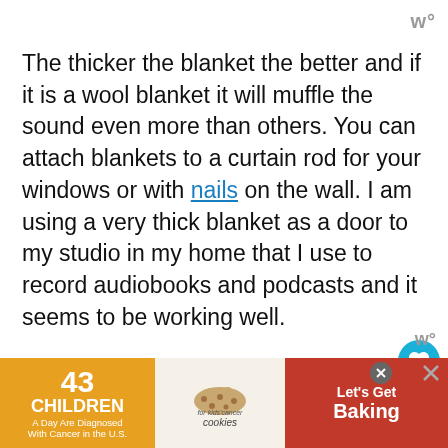w°
The thicker the blanket the better and if it is a wool blanket it will muffle the sound even more than others. You can attach blankets to a curtain rod for your windows or with nails on the wall. I am using a very thick blanket as a door to my studio in my home that I use to record audiobooks and podcasts and it seems to be working well.
I simply nailed it to the door frame in the closet. In a pinch, you can even use quilts or ta...
[Figure (infographic): Ad banner: '43 CHILDREN A Day Are Diagnosed With Cancer in the U.S.' with cookies for kids cancer logo and 'Let's Get Baking' text on red background]